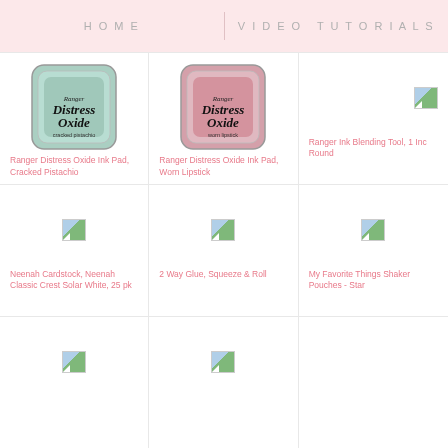HOME   VIDEO TUTORIALS
[Figure (photo): Ranger Distress Oxide Ink Pad, Cracked Pistachio product image]
Ranger Distress Oxide Ink Pad, Cracked Pistachio
[Figure (photo): Ranger Distress Oxide Ink Pad, Worn Lipstick product image]
Ranger Distress Oxide Ink Pad, Worn Lipstick
[Figure (photo): Ranger Ink Blending Tool, 1 Inc Round product image (broken)]
Ranger Ink Blending Tool, 1 Inc Round
[Figure (photo): Neenah Cardstock product image (broken)]
Neenah Cardstock, Neenah Classic Crest Solar White, 25 pk
[Figure (photo): 2 Way Glue product image (broken)]
2 Way Glue, Squeeze & Roll
[Figure (photo): My Favorite Things Shaker Pouches - Star product image (broken)]
My Favorite Things Shaker Pouches - Star
[Figure (photo): Additional product image (broken) - row 3 left]
[Figure (photo): Additional product image (broken) - row 3 center]